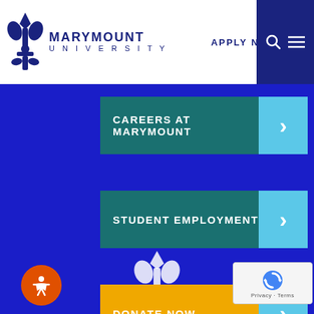Marymount University — APPLY NOW
CAREERS AT MARYMOUNT
STUDENT EMPLOYMENT
DONATE NOW
SUPPORT MARYMOUNT
[Figure (logo): Marymount University fleur-de-lis logo with university name]
[Figure (illustration): White fleur-de-lis icon at bottom center of page]
[Figure (other): Google reCAPTCHA badge bottom right]
[Figure (other): Orange accessibility button bottom left with person icon]